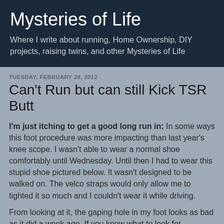Mysteries of Life
Where I write about running, Home Ownership, DIY projects, raising twins, and other Mysteries of Life
TUESDAY, FEBRUARY 28, 2012
Can't Run but can still Kick TSR Butt
I'm just itching to get a good long run in: In some ways this foot procedure was more impacting than last year's knee scope. I wasn't able to wear a normal shoe comfortably until Wednesday. Until then I had to wear this stupid shoe pictured below.  It wasn't designed to be walked on.  The velco straps would only allow me to tighted it so much and I couldn't wear it while driving.
From looking at it, the gaping hole in my foot looks as bad as it did a week ago.  If you know what to look for, however, you